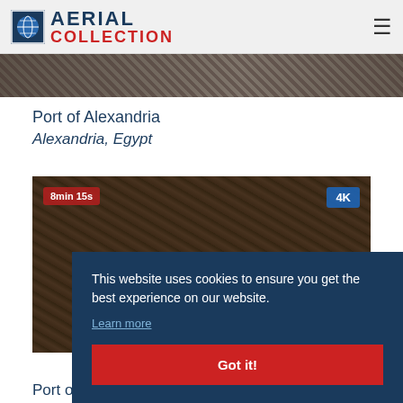AERIAL COLLECTION
[Figure (photo): Aerial banner image strip showing port/industrial scene]
Port of Alexandria
Alexandria, Egypt
[Figure (photo): Aerial video thumbnail of Port of Alexandria showing industrial port machinery, with 8min 15s duration badge and 4K quality badge]
This website uses cookies to ensure you get the best experience on our website. Learn more
Got it!